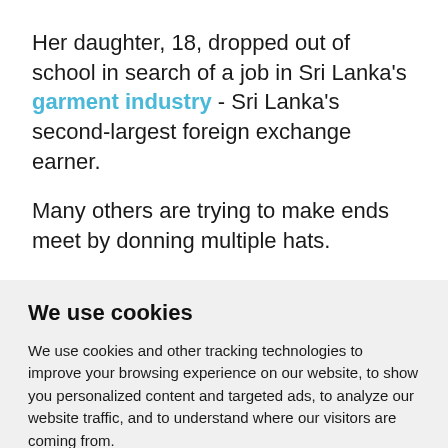Her daughter, 18, dropped out of school in search of a job in Sri Lanka's garment industry - Sri Lanka's second-largest foreign exchange earner.
Many others are trying to make ends meet by donning multiple hats.
We use cookies
We use cookies and other tracking technologies to improve your browsing experience on our website, to show you personalized content and targeted ads, to analyze our website traffic, and to understand where our visitors are coming from.